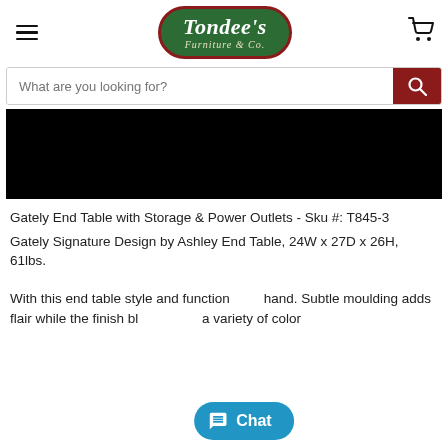Tondee's Furniture & Co.
[Figure (screenshot): Search bar with 'What are you looking for?' placeholder and dark red search button with magnifying glass icon]
[Figure (photo): Product image area showing all black (product photo not visible)]
Gately End Table with Storage & Power Outlets - Sku #: T845-3
Gately Signature Design by Ashley End Table, 24W x 27D x 26H, 61lbs.
With this end table style and function go hand in hand. Subtle moulding adds flair while the finish blends with a variety of color